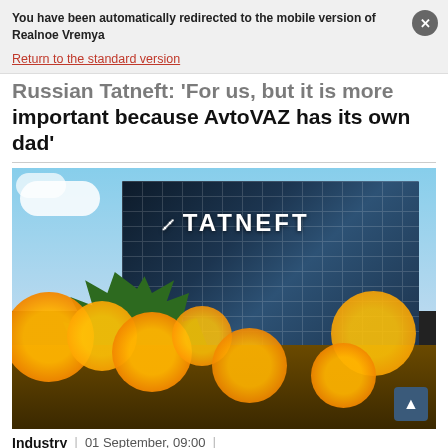You have been automatically redirected to the mobile version of Realnoe Vremya
Return to the standard version
Russian Tatneft: 'For us, but it is more important because AvtoVAZ has its own dad'
[Figure (photo): Photograph of the TATNEFT building with orange flowers in the foreground and trees and sky in the background]
Industry | 01 September, 09:00 |